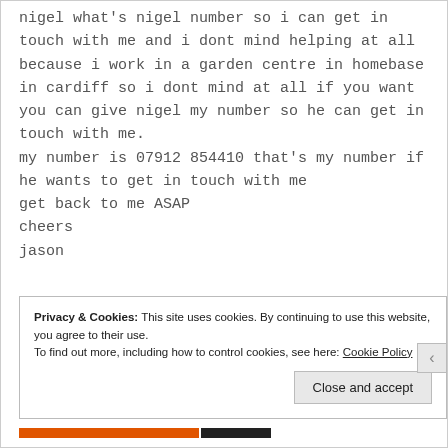nigel what's nigel number so i can get in touch with me and i dont mind helping at all because i work in a garden centre in homebase in cardiff so i dont mind at all if you want you can give nigel my number so he can get in touch with me.
my number is 07912 854410 that's my number if he wants to get in touch with me
get back to me ASAP
cheers
jason
Privacy & Cookies: This site uses cookies. By continuing to use this website, you agree to their use.
To find out more, including how to control cookies, see here: Cookie Policy
Close and accept